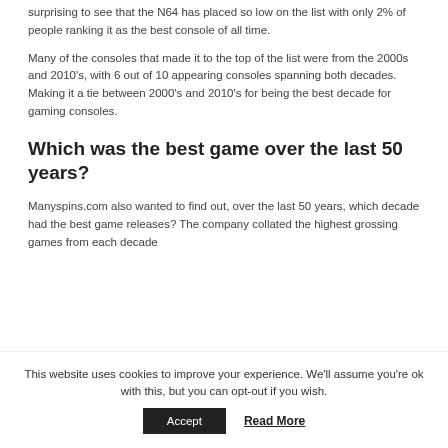surprising to see that the N64 has placed so low on the list with only 2% of people ranking it as the best console of all time.
Many of the consoles that made it to the top of the list were from the 2000s and 2010's, with 6 out of 10 appearing consoles spanning both decades. Making it a tie between 2000's and 2010's for being the best decade for gaming consoles.
Which was the best game over the last 50 years?
Manyspins.com also wanted to find out, over the last 50 years, which decade had the best game releases? The company collated the highest grossing games from each decade
This website uses cookies to improve your experience. We'll assume you're ok with this, but you can opt-out if you wish.